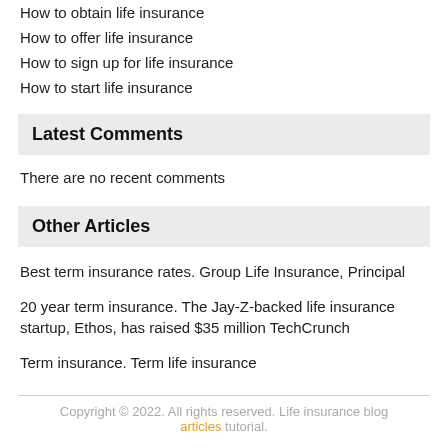How to obtain life insurance
How to offer life insurance
How to sign up for life insurance
How to start life insurance
Latest Comments
There are no recent comments
Other Articles
Best term insurance rates. Group Life Insurance, Principal
20 year term insurance. The Jay-Z-backed life insurance startup, Ethos, has raised $35 million TechCrunch
Term insurance. Term life insurance
Copyright © 2022. All rights reserved. Life insurance blog articles tutorial.